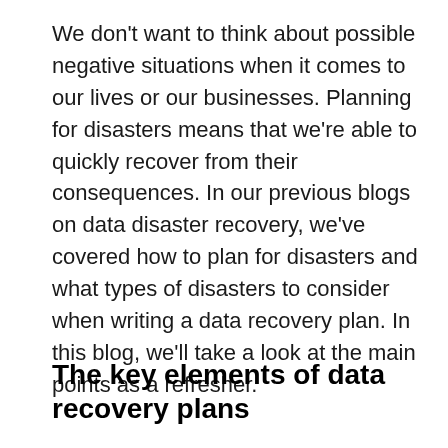We don't want to think about possible negative situations when it comes to our lives or our businesses. Planning for disasters means that we're able to quickly recover from their consequences. In our previous blogs on data disaster recovery, we've covered how to plan for disasters and what types of disasters to consider when writing a data recovery plan. In this blog, we'll take a look at the main points as a refresher.
The key elements of data recovery plans